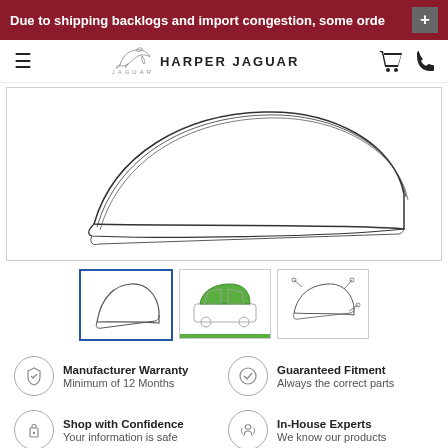Due to shipping backlogs and import congestion, some orde
[Figure (logo): Harper Jaguar logo with leaping jaguar icon and text HARPER JAGUAR]
[Figure (illustration): Line drawing of a Jaguar car roof/bonnet panel part, viewed from above at an angle]
[Figure (illustration): Thumbnail 1: line drawing of roof panel part]
[Figure (illustration): Thumbnail 2: green highlighted diagram showing roof panel placement on car]
[Figure (illustration): Thumbnail 3: line drawing diagram of roof panel with surrounding parts]
Manufacturer Warranty
Minimum of 12 Months
Guaranteed Fitment
Always the correct parts
Shop with Confidence
Your information is safe
In-House Experts
We know our products
DETAILS